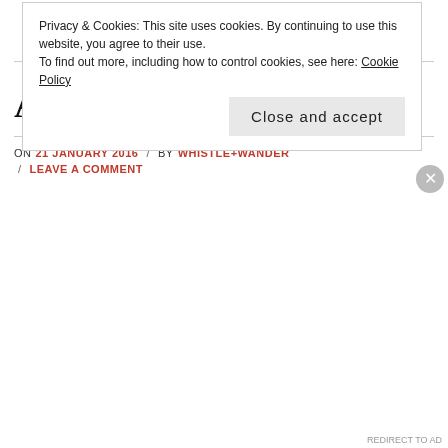CONTINUE READING →
A Day in Mexico
ON 21 JANUARY 2016 / BY WHISTLE+WANDER / LEAVE A COMMENT
Privacy & Cookies: This site uses cookies. By continuing to use this website, you agree to their use.
To find out more, including how to control cookies, see here: Cookie Policy
Close and accept